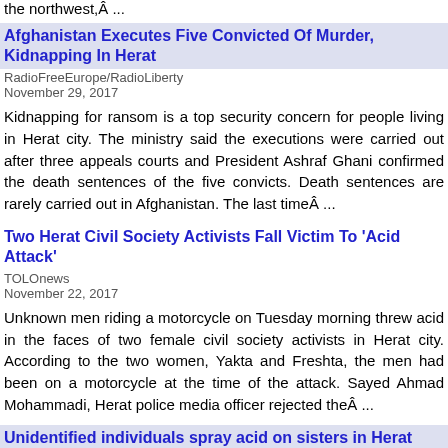the northwest,Â ...
Afghanistan Executes Five Convicted Of Murder, Kidnapping In Herat
RadioFreeEurope/RadioLiberty
November 29, 2017
Kidnapping for ransom is a top security concern for people living in Herat city. The ministry said the executions were carried out after three appeals courts and President Ashraf Ghani confirmed the death sentences of the five convicts. Death sentences are rarely carried out in Afghanistan. The last timeÂ ...
Two Herat Civil Society Activists Fall Victim To 'Acid Attack'
TOLOnews
November 22, 2017
Unknown men riding a motorcycle on Tuesday morning threw acid in the faces of two female civil society activists in Herat city. According to the two women, Yakta and Freshta, the men had been on a motorcycle at the time of the attack. Sayed Ahmad Mohammadi, Herat police media officer rejected theÂ ...
Unidentified individuals spray acid on sisters in Herat
Pajhwok Afghan News (blog)
November 21, 2017
HERAT CITY (Pajhwok): Unknown individuals sprayed acid on two sisters in the capital of western Herat province, officials said on